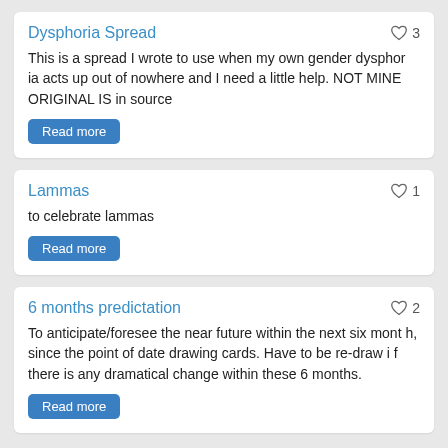Dysphoria Spread
This is a spread I wrote to use when my own gender dysphoria acts up out of nowhere and I need a little help. NOT MINE ORIGINAL IS in source
Read more
Lammas
to celebrate lammas
Read more
6 months predictation
To anticipate/foresee the near future within the next six month, since the point of date drawing cards. Have to be re-draw if there is any dramatical change within these 6 months.
Read more